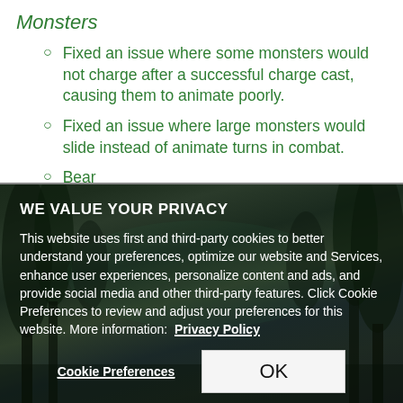Monsters
Fixed an issue where some monsters would not charge after a successful charge cast, causing them to animate poorly.
Fixed an issue where large monsters would slide instead of animate turns in combat.
Bear
WE VALUE YOUR PRIVACY
This website uses first and third-party cookies to better understand your preferences, optimize our website and Services, enhance user experiences, personalize content and ads, and provide social media and other third-party features. Click Cookie Preferences to review and adjust your preferences for this website. More information:  Privacy Policy
Cookie Preferences   OK